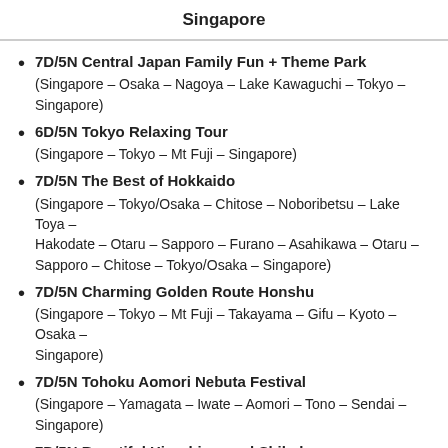Singapore
7D/5N Central Japan Family Fun + Theme Park
(Singapore – Osaka – Nagoya – Lake Kawaguchi – Tokyo – Singapore)
6D/5N Tokyo Relaxing Tour
(Singapore – Tokyo – Mt Fuji – Singapore)
7D/5N The Best of Hokkaido
(Singapore – Tokyo/Osaka – Chitose – Noboribetsu – Lake Toya – Hakodate – Otaru – Sapporo – Furano – Asahikawa – Otaru – Sapporo – Chitose – Tokyo/Osaka – Singapore)
7D/5N Charming Golden Route Honshu
(Singapore – Tokyo – Mt Fuji – Takayama – Gifu – Kyoto – Osaka – Singapore)
7D/5N Tohoku Aomori Nebuta Festival
(Singapore – Yamagata – Iwate – Aomori – Tono – Sendai – Singapore)
7D/5N Beautiful Hiroshima and Shikoku
(Singapore – Hiroshima – Matsuyama – Tokushima – Himeji – Okayama – Hiroshima – Singapore)